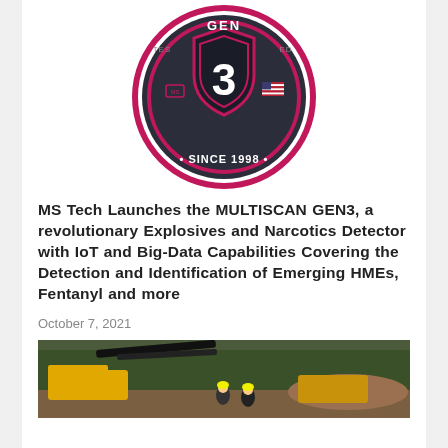[Figure (logo): MULTISCAN GEN3 circular badge logo in dark gray and magenta/pink, featuring a shield with number 3, US flag, MS Detection logo, and text 'SINCE 1998']
MS Tech Launches the MULTISCAN GEN3, a revolutionary Explosives and Narcotics Detector with IoT and Big-Data Capabilities Covering the Detection and Identification of Emerging HMEs, Fentanyl and more
October 7, 2021
[Figure (photo): Yellow heavy construction/drilling machinery with workers in hard hats in a forested area with dirt mounds in the background]